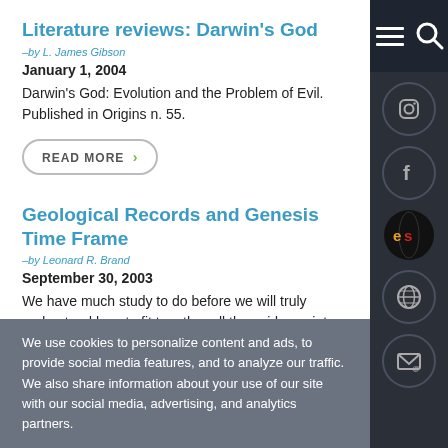Literature reviews: Darwin's God
–by L. James Gibson
January 1, 2004
Darwin's God: Evolution and the Problem of Evil. Published in Origins n. 55.
READ MORE ›
Geological Records and Genesis Time Frame
–by Leonard R. Brand
September 30, 2003
We have much study to do before we will truly understand how to fit together all the evidence into a
We use cookies to personalize content and ads, to provide social media features, and to analyze our traffic. We also share information about your use of our site with our social media, advertising, and analytics partners.